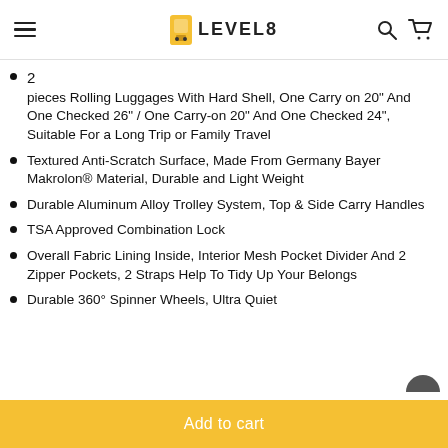LEVEL8
2 pieces Rolling Luggages With Hard Shell, One Carry on 20" And One Checked 26" / One Carry-on 20" And One Checked 24", Suitable For a Long Trip or Family Travel
Textured Anti-Scratch Surface, Made From Germany Bayer Makrolon® Material, Durable and Light Weight
Durable Aluminum Alloy Trolley System, Top & Side Carry Handles
TSA Approved Combination Lock
Overall Fabric Lining Inside, Interior Mesh Pocket Divider And 2 Zipper Pockets, 2 Straps Help To Tidy Up Your Belongs
Durable 360° Spinner Wheels, Ultra Quiet
Add to cart